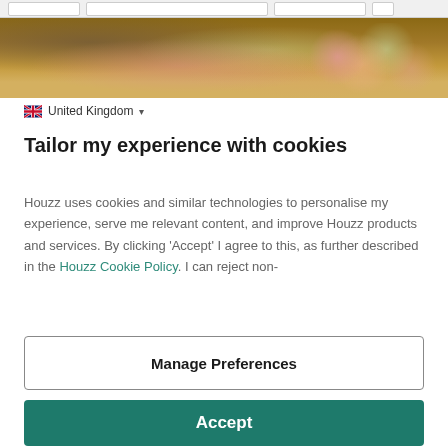[Figure (screenshot): Top navigation bar with search inputs and a photo strip showing a garden/outdoor scene with flowers and foliage]
United Kingdom ▾
Tailor my experience with cookies
Houzz uses cookies and similar technologies to personalise my experience, serve me relevant content, and improve Houzz products and services. By clicking 'Accept' I agree to this, as further described in the Houzz Cookie Policy. I can reject non-
Manage Preferences
Accept